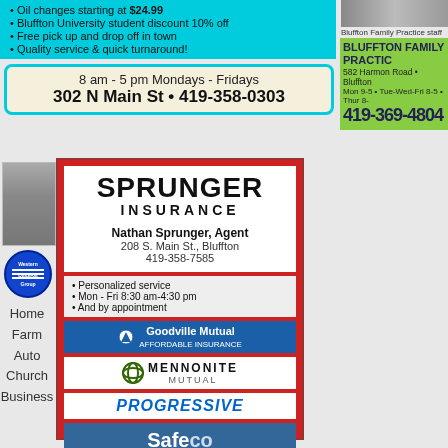Oil changes starting at $24.99
Bluffton University student discount 10% off
Free pick up and drop off in town
Quality service & quick turnaround!
8 am - 5 pm Mondays - Fridays
302 N Main St • 419-358-0303
[Figure (photo): Bluffton Family Practice staff photo]
Bluffton Family Practice staff
BLUFFTON FAMILY PRACTICE
582 Harmon Road • Bluffton
Mon 9-5 • Tue-Wed-Fri 8-5 • Thur 8-
419-369-4804
[Figure (photo): Nathan Sprunger agent headshot photo]
[Figure (logo): Western Reserve Group circular blue logo]
Home
Farm
Auto
Church
Business
SPRUNGER INSURANCE
Nathan Sprunger, Agent
208 S. Main St., Bluffton
419-358-7585
Personalized service
Mon - Fri 8:30 am-4:30 pm
And by appointment
[Figure (logo): Goodville Mutual Affordable Insurance logo]
[Figure (logo): Mennonite Mutual logo]
[Figure (logo): Progressive logo]
[Figure (logo): Safeco logo]
[Figure (logo): Wayne Insurance Group logo]